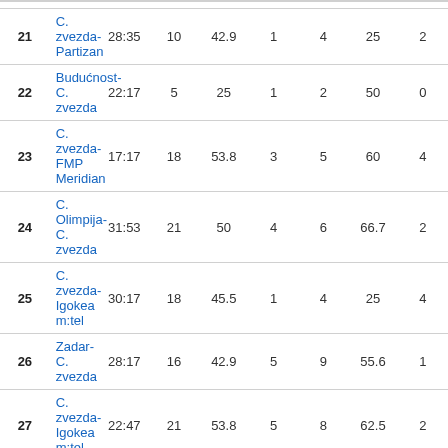| # | Match | Time | Pts | % | A | B | C% | D |
| --- | --- | --- | --- | --- | --- | --- | --- | --- |
| 21 | C. zvezda-Partizan | 28:35 | 10 | 42.9 | 1 | 4 | 25 | 2 |
| 22 | Budućnost-C. zvezda | 22:17 | 5 | 25 | 1 | 2 | 50 | 0 |
| 23 | C. zvezda-FMP Meridian | 17:17 | 18 | 53.8 | 3 | 5 | 60 | 4 |
| 24 | C. Olimpija-C. zvezda | 31:53 | 21 | 50 | 4 | 6 | 66.7 | 2 |
| 25 | C. zvezda-Igokea m:tel | 30:17 | 18 | 45.5 | 1 | 4 | 25 | 4 |
| 26 | Zadar-C. zvezda | 28:17 | 16 | 42.9 | 5 | 9 | 55.6 | 1 |
| 27 | C. zvezda-Igokea m:tel | 22:47 | 21 | 53.8 | 5 | 8 | 62.5 | 2 |
| 28 | Igokea m:tel-C. zvezda | 26:16 | 11 | 33.3 | 4 | 8 | 50 | 0 |
| 29 | C. zvezda-Igokea m:tel | 34:26 | 15 | 28.6 | 2 | 7 | 28.6 | 2 |
| 30 | C. zvezda-Budućnost | 30:45 | 23 | 47.4 | 8 | 13 | 61.5 | 1 |
| 31 | C. zvezda-Budućnost | 26:09 | 16 | 26.7 | 3 | 9 | 33.3 | 1 |
| 32 | Budućnost-C. zvezda | 29:19 | 19 | 40 | 6 | 10 | 60 | 0 |
| 33 | Budućnost-C. zvezda | 31:39 | 23 | 45 | 5 | 12 | 41.7 | 4 |
| 34 | C. zvezda-Budućnost | 25:30 | 15 | 33.3 | 3 | 10 | 30 | 2 |